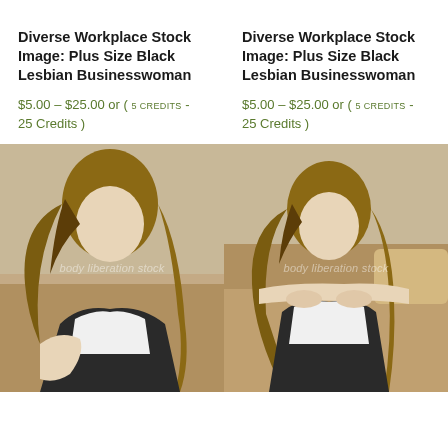Diverse Workplace Stock Image: Plus Size Black Lesbian Businesswoman
$5.00 – $25.00 or ( 5 CREDITS - 25 Credits )
Diverse Workplace Stock Image: Plus Size Black Lesbian Businesswoman
$5.00 – $25.00 or ( 5 CREDITS - 25 Credits )
[Figure (photo): Person with long blonde hair leaning forward on a couch, wearing a white top and dark vest, with 'body liberation stock' watermark]
[Figure (photo): Person with long blonde hair leaning on back of couch, wearing a white top and dark vest, with 'body liberation stock' watermark]